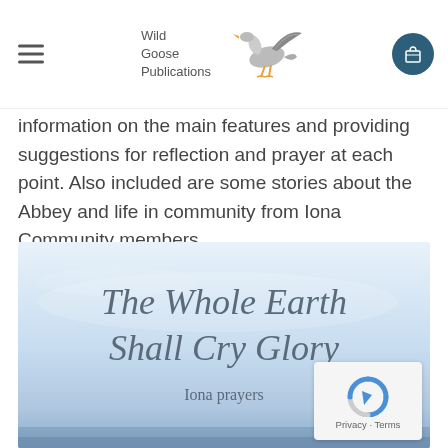[Figure (logo): Wild Goose Publications logo with flying goose bird illustration and text]
information on the main features and providing suggestions for reflection and prayer at each point. Also included are some stories about the Abbey and life in community from Iona Community members.
[Figure (illustration): Book cover for 'The Whole Earth Shall Cry Glory – Iona prayers' with light blue sky and water background]
Privacy · Terms